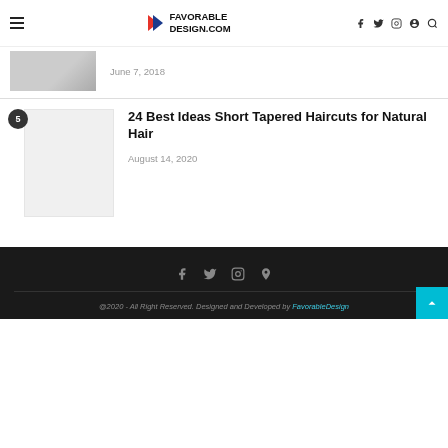FAVORABLE DESIGN.COM
June 7, 2018
24 Best Ideas Short Tapered Haircuts for Natural Hair
August 14, 2020
@2020 - All Right Reserved. Designed and Developed by FavorableDesign